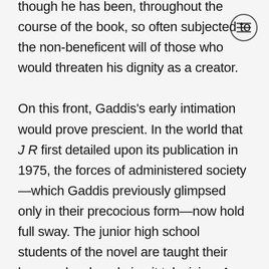though he has been, throughout the course of the book, so often subjected to the non-beneficent will of those who would threaten his dignity as a creator.

On this front, Gaddis's early intimation would prove prescient. In the world that J R first detailed upon its publication in 1975, the forces of administered society—which Gaddis previously glimpsed only in their precocious form—now hold full sway. The junior high school students of the novel are taught their lessons by closed-circuit television. An overlapping system of corporate and